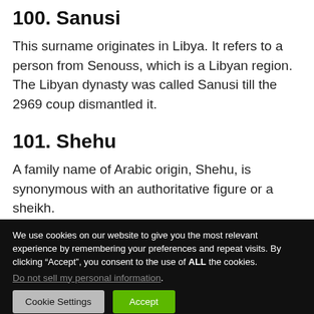100. Sanusi
This surname originates in Libya. It refers to a person from Senouss, which is a Libyan region. The Libyan dynasty was called Sanusi till the 2969 coup dismantled it.
101. Shehu
A family name of Arabic origin, Shehu, is synonymous with an authoritative figure or a sheikh.
We use cookies on our website to give you the most relevant experience by remembering your preferences and repeat visits. By clicking “Accept”, you consent to the use of ALL the cookies.
Do not sell my personal information.